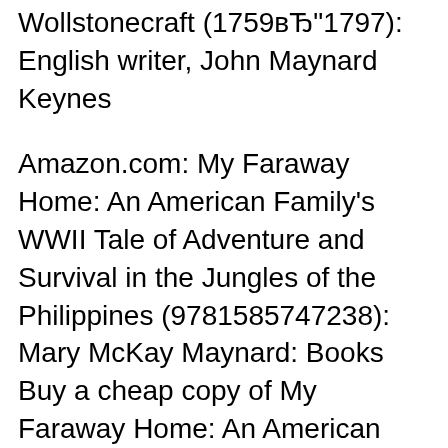Wollstonecraft (1759–1797): English writer, John Maynard Keynes
Amazon.com: My Faraway Home: An American Family's WWII Tale of Adventure and Survival in the Jungles of the Philippines (9781585747238): Mary McKay Maynard: Books Buy a cheap copy of My Faraway Home: An American Family's book by Mary McKay Maynard. WWII Tale of Adventure and Survival in the Jungles of the Philippines.
Touching excerpts from Mary McKay Maynard's mother's diary weave in and out of this tale of a group of Americans in a jungle hideaway using every survival skill TASMANIAN GOV ERNMENT